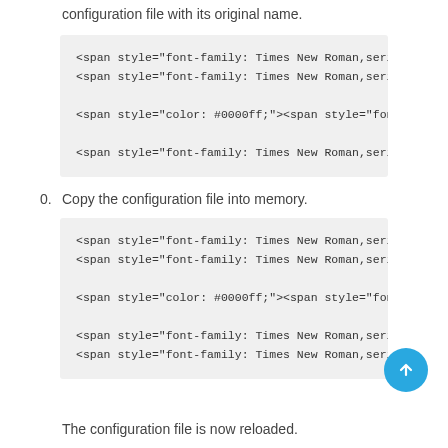configuration file with its original name.
<span style="font-family: Times New Roman,serif;">
<span style="font-family: Times New Roman,serif;">

<span style="color: #0000ff;"><span style="font-fa

<span style="font-family: Times New Roman,serif;">
0. Copy the configuration file into memory.
<span style="font-family: Times New Roman,serif;">
<span style="font-family: Times New Roman,serif;">

<span style="color: #0000ff;"><span style="font-fa

<span style="font-family: Times New Roman,serif;">
<span style="font-family: Times New Roman,serif;">
The configuration file is now reloaded.